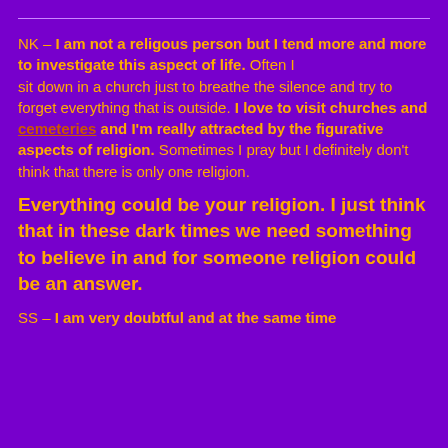NK – I am not a religous person but I tend more and more to investigate this aspect of life. Often I sit down in a church just to breathe the silence and try to forget everything that is outside. I love to visit churches and cemeteries and I'm really attracted by the figurative aspects of religion. Sometimes I pray but I definitely don't think that there is only one religion.
Everything could be your religion. I just think that in these dark times we need something to believe in and for someone religion could be an answer.
SS – I am very doubtful and at the same time